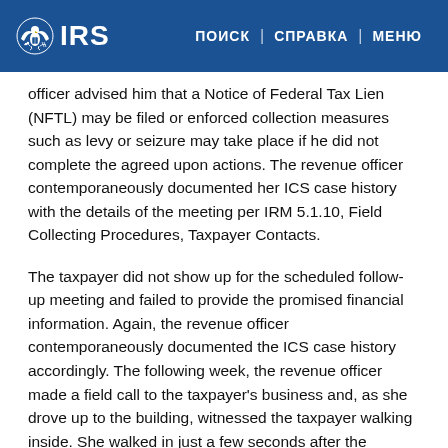IRS | ПОИСК | СПРАВКА | МЕНЮ
officer advised him that a Notice of Federal Tax Lien (NFTL) may be filed or enforced collection measures such as levy or seizure may take place if he did not complete the agreed upon actions. The revenue officer contemporaneously documented her ICS case history with the details of the meeting per IRM 5.1.10, Field Collecting Procedures, Taxpayer Contacts.
The taxpayer did not show up for the scheduled follow-up meeting and failed to provide the promised financial information. Again, the revenue officer contemporaneously documented the ICS case history accordingly. The following week, the revenue officer made a field call to the taxpayer's business and, as she drove up to the building, witnessed the taxpayer walking inside. She walked in just a few seconds after the taxpayer and asked the